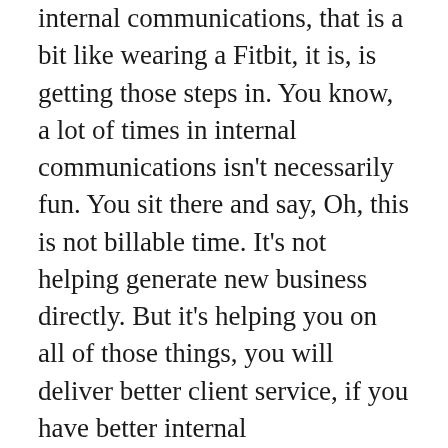internal communications, that is a bit like wearing a Fitbit, it is, is getting those steps in. You know, a lot of times in internal communications isn't necessarily fun. You sit there and say, Oh, this is not billable time. It's not helping generate new business directly. But it's helping you on all of those things, you will deliver better client service, if you have better internal communications, I guarantee it, you will generate more clients, I guarantee it. So you need to have that kind of culture where you're communicating information. And let me just say to t